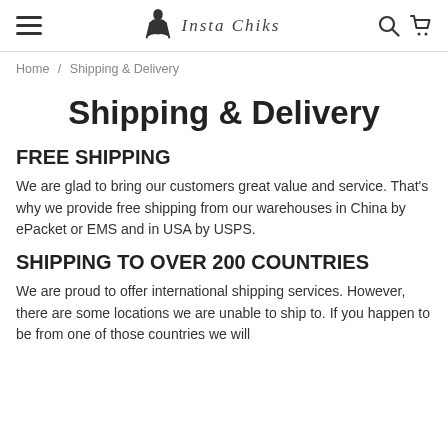Insta Chiks — navigation header with hamburger menu, logo, search and cart icons
Home / Shipping & Delivery
Shipping & Delivery
FREE SHIPPING
We are glad to bring our customers great value and service. That's why we provide free shipping from our warehouses in China by ePacket or EMS and in USA by USPS.
SHIPPING TO OVER 200 COUNTRIES
We are proud to offer international shipping services. However, there are some locations we are unable to ship to. If you happen to be from one of those countries we will